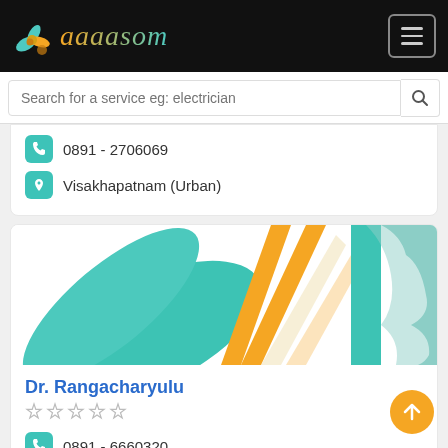[Figure (logo): Aalsom app logo with teal and orange plant/flower icon and stylized italic text 'ааааsom' in orange-to-teal gradient on black background]
Search for a service eg: electrician
0891 - 2706069
Visakhapatnam (Urban)
[Figure (logo): Aalsom decorative logo/banner image with teal palm fronds and orange sunburst stripes and silhouette]
Dr. Rangacharyulu
☆☆☆☆☆
0891 - 6660320
Visakhapatnam (Urban)